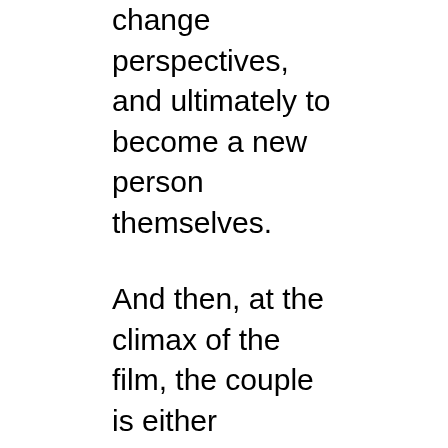change perspectives, and ultimately to become a new person themselves.
And then, at the climax of the film, the couple is either reconciled or joins together for the first time – often in marriage. As the movie comes to a close and the camera pans out, we are given shots of the perfect snow falling gently in front of the large bay window of the now shared home. Inside we see warm lights, faces aglow, often seated around a table, sharing stories, laughter, and warm touch. In a word, we see contentment embodied fully. We see